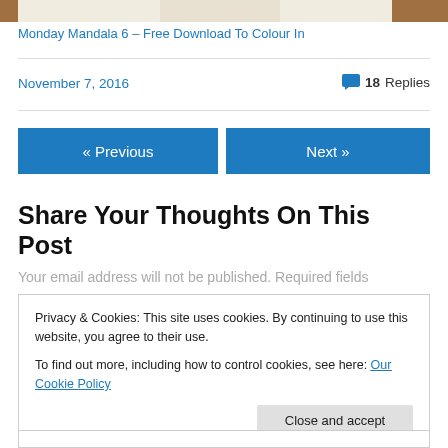[Figure (photo): Top portion of a photo showing a mandala drawing on paper on a wooden surface]
Monday Mandala 6 – Free Download To Colour In
November 7, 2016
18 Replies
« Previous
Next »
Share Your Thoughts On This Post
Your email address will not be published. Required fields
Privacy & Cookies: This site uses cookies. By continuing to use this website, you agree to their use.
To find out more, including how to control cookies, see here: Our Cookie Policy
Close and accept